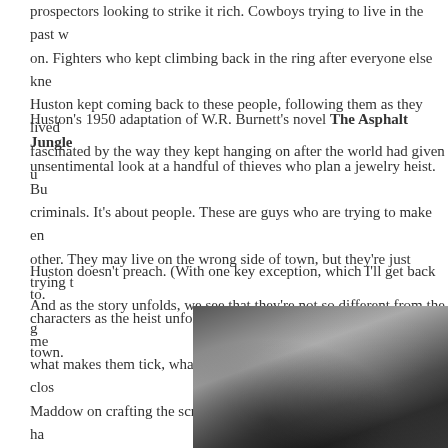prospectors looking to strike it rich. Cowboys trying to live in the past who kept on. Fighters who kept climbing back in the ring after everyone else kne... Huston kept coming back to these people, following them as they lived... fascinated by the way they kept hanging on after the world had given u...
Huston's 1950 adaptation of W.R. Burnett's novel The Asphalt Jungle unsentimental look at a handful of thieves who plan a jewelry heist. Bu... criminals. It's about people. These are guys who are trying to make en... other. They may live on the wrong side of town, but they're just trying t... And as the story unfolds, we see that they're not so different from the g... town.
Huston doesn't preach. (With one key exception, which I'll get back to... characters as the heist unfolds, letting us get to know each of these me... what makes them tick, what their frailties are. The director worked clos... Maddow on crafting the script. In his autobiography Huston says he ha... Burnett's novel, and consulted with the author repeatedly while writing...
[Figure (photo): Black and white film still from The Asphalt Jungle, showing a dark cinematic scene with figures partially visible]